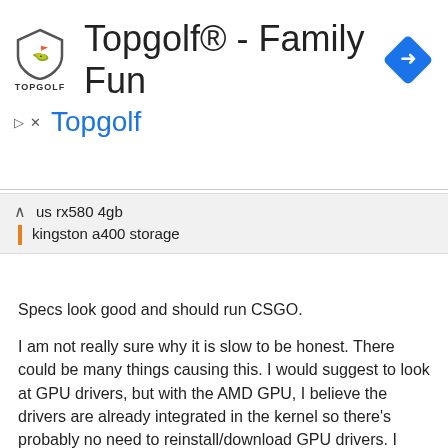[Figure (other): Topgolf advertisement banner with shield logo, navigation arrow icon, title 'Topgolf® - Family Fun' and subtitle 'Topgolf' in blue]
us rx580 4gb
kingston a400 storage
Specs look good and should run CSGO.
I am not really sure why it is slow to be honest. There could be many things causing this. I would suggest to look at GPU drivers, but with the AMD GPU, I believe the drivers are already integrated in the kernel so there's probably no need to reinstall/download GPU drivers. I assume you have the open source AMD driver for Vulkan?
Are there any other apps running on the machine when you're trying to play the game? Have you also looked at the game settings to see if things like resolution, shadows, etc are tweaked for your machine?